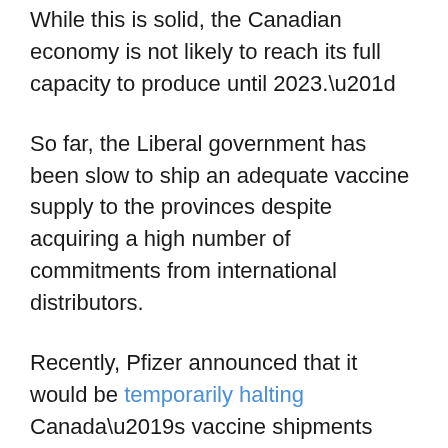While this is solid, the Canadian economy is not likely to reach its full capacity to produce until 2023.”
So far, the Liberal government has been slow to ship an adequate vaccine supply to the provinces despite acquiring a high number of commitments from international distributors.
Recently, Pfizer announced that it would be temporarily halting Canada’s vaccine shipments while several provinces have indicated that their initial supply is already dwindling.
Both Alberta’s and Ontario’s premiers have already